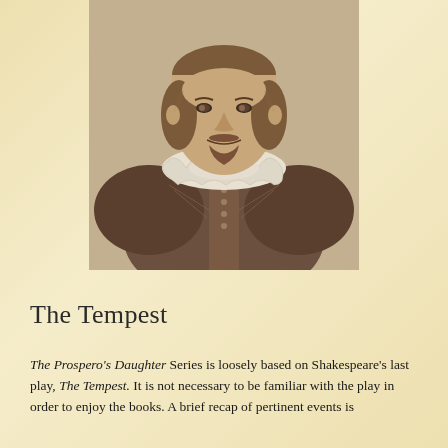[Figure (illustration): Historical engraving portrait of William Shakespeare, bust view showing face and Elizabethan collar and doublet clothing, sepia/brown toned.]
The Tempest
The Prospero's Daughter Series is loosely based on Shakespeare's last play, The Tempest. It is not necessary to be familiar with the play in order to enjoy the books. A brief recap of pertinent events is